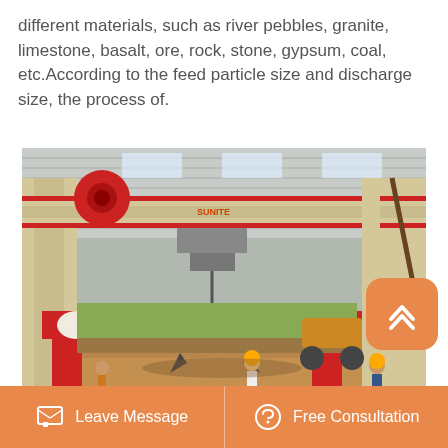different materials, such as river pebbles, granite, limestone, basalt, ore, rock, stone, gypsum, coal, etc.According to the feed particle size and discharge size, the process of.
[Figure (photo): Industrial facility interior showing a red and cream gantry crane (SUNITE brand) inside a large warehouse/factory. Workers in hard hats visible on the ground floor. A mechanical grab/claw is suspended from the crane. The lower structure shows red portal frame legs with Chinese text and SUNITE branding.]